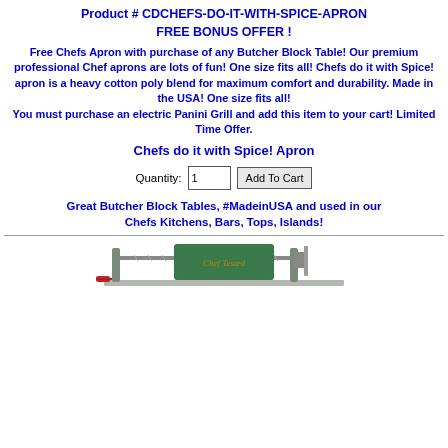Product # CDCHEFS-DO-IT-WITH-SPICE-APRON FREE BONUS OFFER !
Free Chefs Apron with purchase of any Butcher Block Table! Our premium professional Chef aprons are lots of fun! One size fits all! Chefs do it with Spice! apron is a heavy cotton poly blend for maximum comfort and durability. Made in the USA! One size fits all! You must purchase an electric Panini Grill and add this item to your cart! Limited Time Offer.
Chefs do it with Spice! Apron
Quantity: 1  Add To Cart
Great Butcher Block Tables, #MadeinUSA and used in our Chefs Kitchens, Bars, Tops, Islands!
[Figure (photo): Partially visible image of a kitchen appliance (apple peeler/slicer) with 'Chef Tested' watermark text]